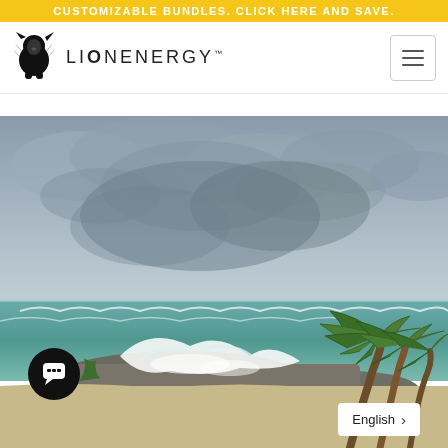CUSTOMIZABLE BUNDLES. CLICK HERE AND SAVE.
[Figure (logo): Lion Energy logo with lion silhouette and text LION ENERGY]
[Figure (photo): Stormy beach scene with rough waves crashing on rocks, palm trees bending in strong wind, overcast sky, tropical setting]
English